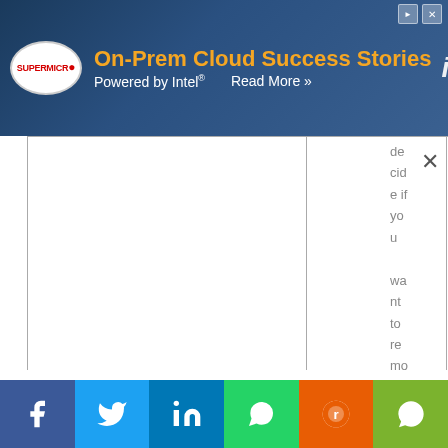[Figure (screenshot): Advertisement banner for Supermicro On-Prem Cloud Success Stories, Powered by Intel. Features Supermicro logo, orange headline text, and Intel logo on dark blue server rack background.]
|  |  | decide if you want to remo |
This website uses cookies.
Accept
[Figure (infographic): Social media sharing bar with icons for Facebook, Twitter, LinkedIn, WhatsApp, Reddit, and WeChat]